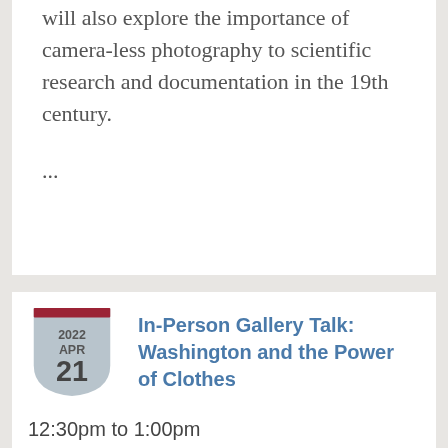will also explore the importance of camera-less photography to scientific research and documentation in the 19th century.
...
[Figure (illustration): Calendar badge shield shape showing 2022 APR 21 with a red top bar]
In-Person Gallery Talk: Washington and the Power of Clothes
12:30pm to 1:00pm
Location: Harvard Art Museums, 32 Quincy St., Cambridge